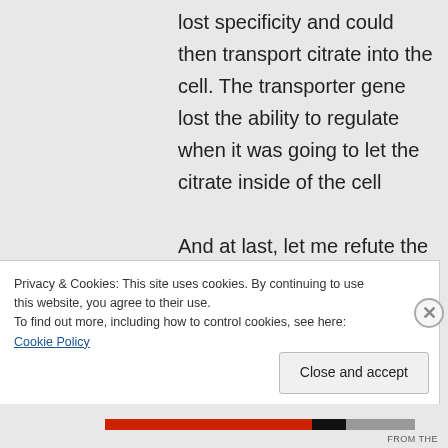lost specificity and could then transport citrate into the cell. The transporter gene lost the ability to regulate when it was going to let the citrate inside of the cell

And at last, let me refute the lie that the
Privacy & Cookies: This site uses cookies. By continuing to use this website, you agree to their use.
To find out more, including how to control cookies, see here: Cookie Policy
Close and accept